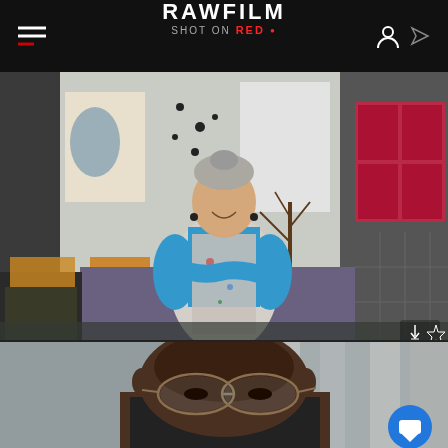RAWFILM | SHOT ON RED
[Figure (photo): Woman with hair up, wearing blue long-sleeve shirt and paint-splattered apron, standing with arms crossed in an art studio with paintings, fabrics, and craft supplies in the background]
[Figure (photo): Close-up of a man wearing round glasses, looking slightly downward, with a blurred office background]